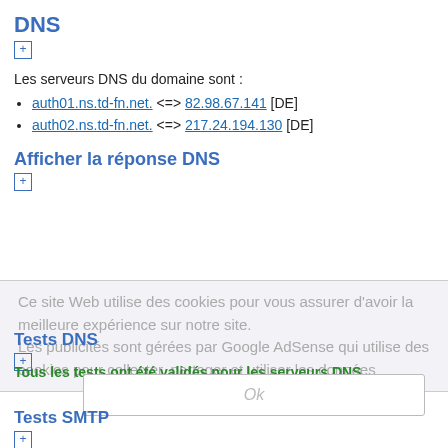DNS
Les serveurs DNS du domaine sont :
auth01.ns.td-fn.net. <=> 82.98.67.141 [DE]
auth02.ns.td-fn.net. <=> 217.24.194.130 [DE]
Afficher la réponse DNS
Ce site Web utilise des cookies pour vous assurer d'avoir la meilleure expérience sur notre site.
Les publicités sont gérées par Google AdSense qui utilise des cookies pour collecter, partager et utiliser les données
Tests DNS
Tous les tests ont été validés pour les serveurs DNS
Ok
Tests SMTP
Les champs MX possèdent les serveurs SMTP suivants :